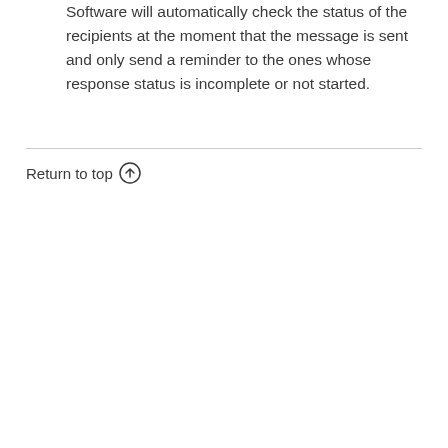Software will automatically check the status of the recipients at the moment that the message is sent and only send a reminder to the ones whose response status is incomplete or not started.
Return to top ↑